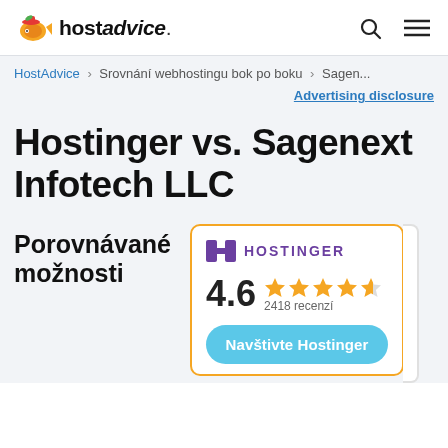hostadvice.
HostAdvice > Srovnání webhostingu bok po boku > Sagen...
Advertising disclosure
Hostinger vs. Sagenext Infotech LLC
Porovnávané možnosti
[Figure (infographic): Hostinger hosting provider card with logo, 4.6 star rating (2418 recenzí), and 'Navštivte Hostinger' button]